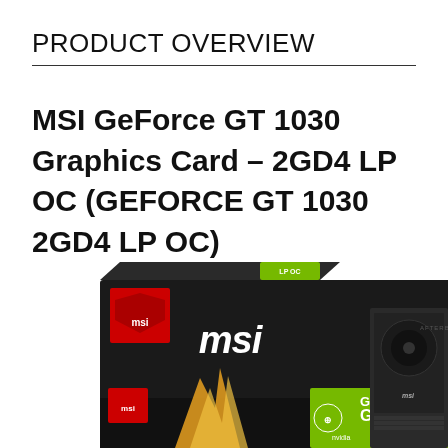PRODUCT OVERVIEW
MSI GeForce GT 1030 Graphics Card – 2GD4 LP OC (GEFORCE GT 1030 2GD4 LP OC)
[Figure (photo): Product photo showing MSI GeForce GT 1030 graphics card and its retail box. The box is black with MSI dragon logo and green GEFORCE GT 1030 branding. The graphics card itself is visible alongside the box.]